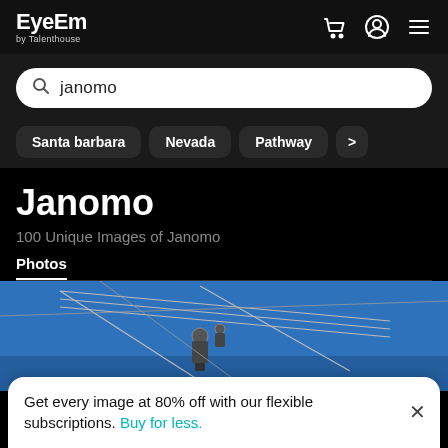EyeEm by Talenthouse
janomo
Santa barbara
Nevada
Pathway
Janomo
100 Unique Images of Janomo
Photos
[Figure (photo): Blue sky with power lines and electrical hardware viewed from below]
Get every image at 80% off with our flexible subscriptions. Buy for less.